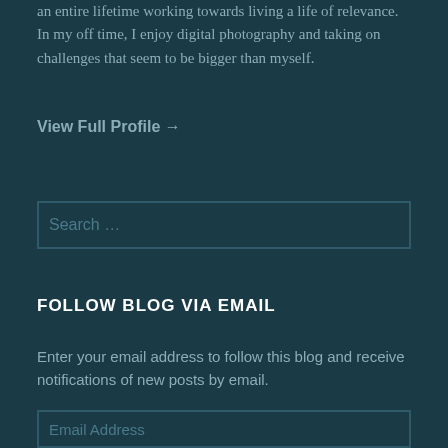an entire lifetime working towards living a life of relevance. In my off time, I enjoy digital photography and taking on challenges that seem to be bigger than myself.
View Full Profile →
Search …
FOLLOW BLOG VIA EMAIL
Enter your email address to follow this blog and receive notifications of new posts by email.
Email Address